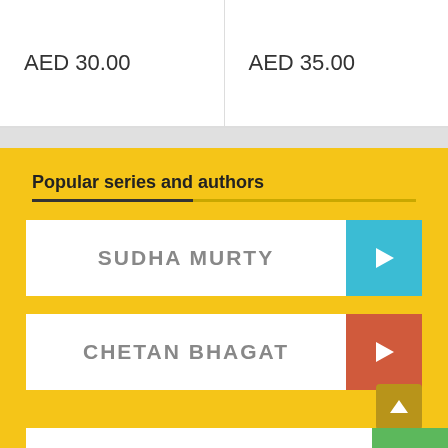| AED 30.00 | AED 35.00 |
Popular series and authors
SUDHA MURTY
CHETAN BHAGAT
(partial item, cut off)